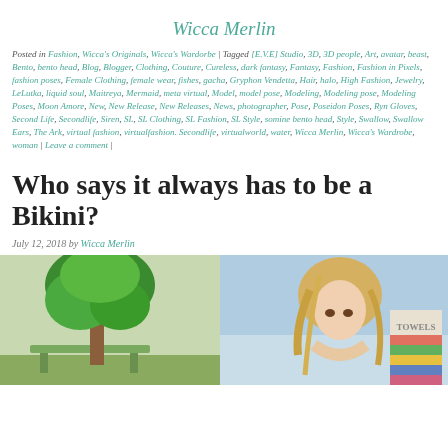Wicca Merlin
Posted in Fashion, Wicca's Originals, Wicca's Wardorbe | Tagged [E.V.E] Studio, 3D, 3D people, Art, avatar, beast, Bento, bento head, Blog, Blogger, Clothing, Couture, Cureless, dark fantasy, Fantasy, Fashion, Fashion in Pixels, fashion poses, Female Clothing, female wear, fishes, gacha, Gryphon Vendetta, Hair, halo, High Fashion, Jewelry, LeLutka, liquid soul, Maitreya, Mermaid, meta virtual, Model, model pose, Modeling, Modeling pose, Modeling Poses, Moon Amore, New, New Release, New Releases, News, photographer, Pose, Poseidon Poses, Ryn Gloves, Second Life, Secondlife, Siren, SL, SL Clothing, SL Fashion, SL Style, somine bento head, Style, Swallow, Swallow Ears, The Ark, virtual fashion, virtualfashion. Secondlife, virtualworld, water, Wicca Merlin, Wicca's Wardrobe, woman | Leave a comment |
Who says it always has to be a Bikini?
July 12, 2018 by Wicca Merlin
[Figure (photo): A composite image showing a green tree on a bench on the left side, and a blonde female avatar holding a towels sign on the right side, with a blue sky background.]